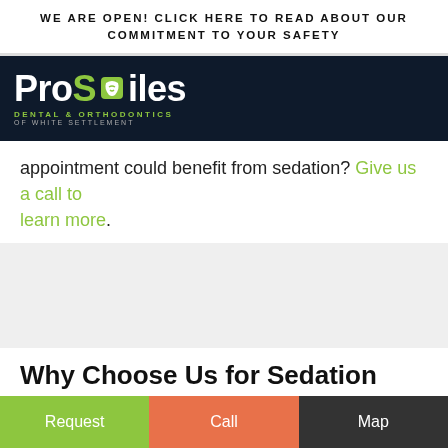WE ARE OPEN! CLICK HERE TO READ ABOUT OUR COMMITMENT TO YOUR SAFETY
[Figure (logo): ProSmiles Dental & Orthodontics of White Settlement logo — white text on dark navy background with green tooth icon]
appointment could benefit from sedation? Give us a call to learn more.
Why Choose Us for Sedation Dentistry?
Request | Call | Map